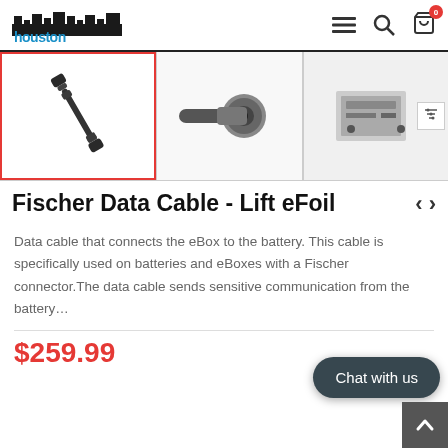Houston Kiteboarding
[Figure (photo): Three thumbnail product images of a Fischer data cable. First image selected (red border) showing a short black cable with connectors. Second shows a close-up of the connector end. Third shows a mounted hardware component.]
Fischer Data Cable - Lift eFoil
Data cable that connects the eBox to the battery. This cable is specifically used on batteries and eBoxes with a Fischer connector.The data cable sends sensitive communication from the battery...
$259.99